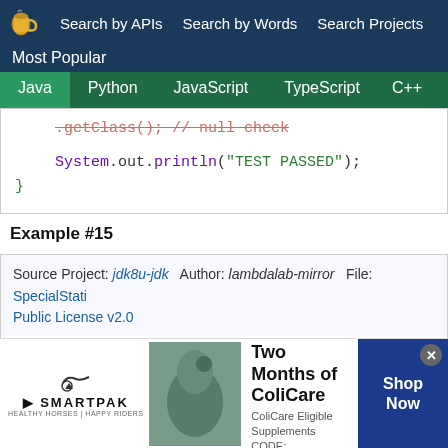Search by APIs   Search by Words   Search Projects
Most Popular
Java   Python   JavaScript   TypeScript   C++   Scala
[Figure (screenshot): Java code snippet showing .getClass(); // null check and System.out.println("TEST PASSED"); with closing brace]
Example #15
Source Project: jdk8u-jdk   Author: lambdalab-mirror   File: SpecialStati...   Public License v2.0
[Figure (screenshot): Java code snippet: @Test public void testFindSpecial() throws Throwable { MethodHandles.Lookup lookup =]
[Figure (screenshot): Advertisement: SmartPak - 50% Off Two Months of ColiCare, ColiCare Eligible Supplements CODE: COLICARE10, Shop Now button]